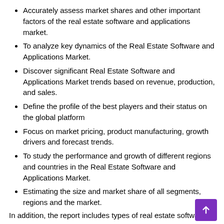Accurately assess market shares and other important factors of the real estate software and applications market.
To analyze key dynamics of the Real Estate Software and Applications Market.
Discover significant Real Estate Software and Applications Market trends based on revenue, production, and sales.
Define the profile of the best players and their status on the global platform
Focus on market pricing, product manufacturing, growth drivers and forecast trends.
To study the performance and growth of different regions and countries in the Real Estate Software and Applications Market.
Estimating the size and market share of all segments, regions and the market.
In addition, the report includes types of real estate software